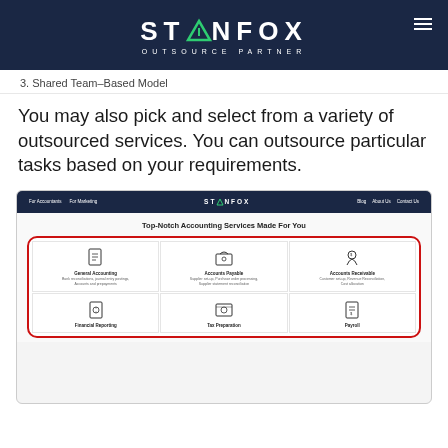STANFOX OUTSOURCE PARTNER
3. Shared Team-Based Model
You may also pick and select from a variety of outsourced services. You can outsource particular tasks based on your requirements.
[Figure (screenshot): Screenshot of the Stanfox website showing 'Top-Notch Accounting Services Made For You' with a grid of accounting services including General Accounting, Accounts Payable, Accounts Receivable, Financial Reporting, Tax Preparation, and Payroll, with a red rounded border around the grid.]